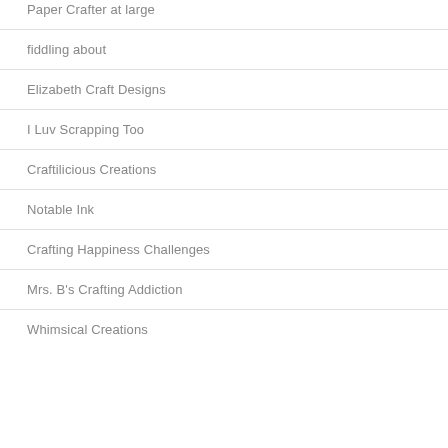Paper Crafter at large
fiddling about
Elizabeth Craft Designs
I Luv Scrapping Too
Craftilicious Creations
Notable Ink
Crafting Happiness Challenges
Mrs. B's Crafting Addiction
Whimsical Creations